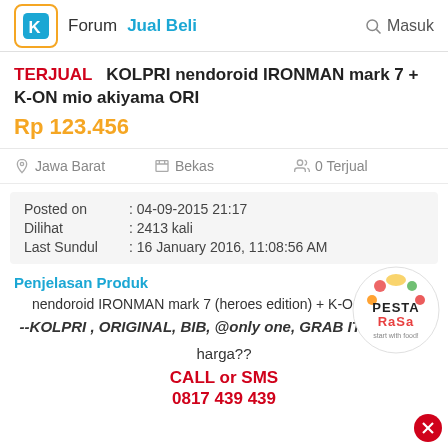Forum  Jual Beli  Masuk
TERJUAL  KOLPRI nendoroid IRONMAN mark 7 + K-ON mio akiyama ORI
Rp 123.456
Jawa Barat   Bekas   0 Terjual
| Field | Value |
| --- | --- |
| Posted on | : 04-09-2015 21:17 |
| Dilihat | : 2413 kali |
| Last Sundul | : 16 January 2016, 11:08:56 AM |
Penjelasan Produk
nendoroid IRONMAN mark 7 (heroes edition) + K-ON mio ak...
--KOLPRI , ORIGINAL, BIB, @only one, GRAB IT FAST!!!--
harga??
CALL or SMS
0817 439 439